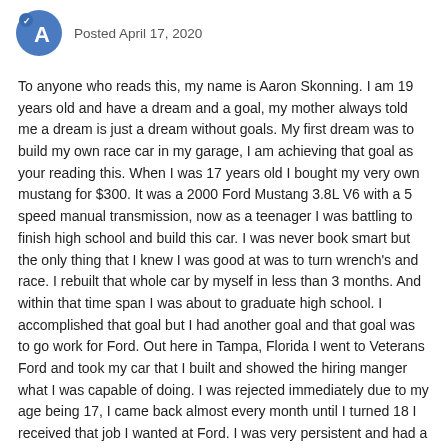Posted April 17, 2020
To anyone who reads this, my name is Aaron Skonning. I am 19 years old and have a dream and a goal, my mother always told me a dream is just a dream without goals. My first dream was to build my own race car in my garage, I am achieving that goal as your reading this. When I was 17 years old I bought my very own mustang for $300. It was a 2000 Ford Mustang 3.8L V6 with a 5 speed manual transmission, now as a teenager I was battling to finish high school and build this car. I was never book smart but the only thing that I knew I was good at was to turn wrench's and race. I rebuilt that whole car by myself in less than 3 months. And within that time span I was about to graduate high school. I accomplished that goal but I had another goal and that goal was to go work for Ford. Out here in Tampa, Florida I went to Veterans Ford and took my car that I built and showed the hiring manger what I was capable of doing. I was rejected immediately due to my age being 17, I came back almost every month until I turned 18 I received that job I wanted at Ford. I was very persistent and had a goal in front of me and I wanted to achieve that goal. Now when I turned 18 I wanted something more challenging so I sold the car I built and bought a 1999 Mustang